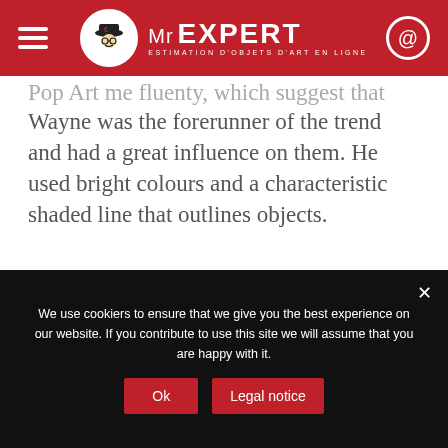Mr EXPERT — ESTIMATION D'OBJETS D'ART EN LIGNE
Pop Art me fluenty, which suggest hat motion. Wayne was the forerunner of the trend and had a great influence on them. He used bright colours and a characteristic shaded line that outlines objects.
He also painted landscapes as well as characters well known to the general public such as Mickey.
Recognising Wayne Thiebaud's
START VALUATION
We use cookiers to ensure that we give you the best experience on our website. If you contribute to use this site we will assume that you are happy with it.
Ok
Legal notice